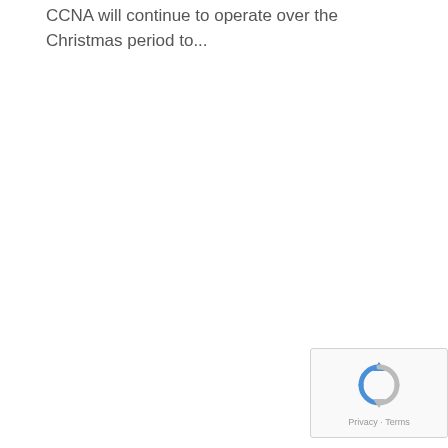CCNA will continue to operate over the Christmas period to...
[Figure (logo): reCAPTCHA widget with spinning arrows logo and 'Privacy - Terms' text]